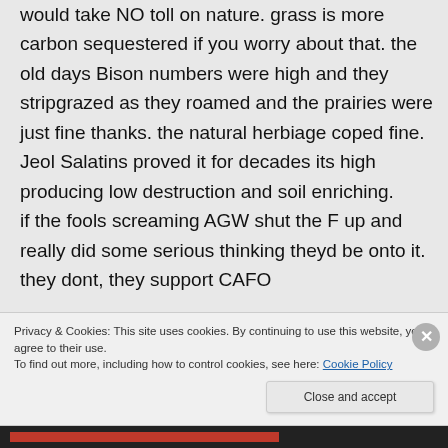would take NO toll on nature. grass is more carbon sequestered if you worry about that. the old days Bison numbers were high and they stripgrazed as they roamed and the prairies were just fine thanks. the natural herbiage coped fine. Jeol Salatins proved it for decades its high producing low destruction and soil enriching. if the fools screaming AGW shut the F up and really did some serious thinking theyd be onto it. they dont, they support CAFO
Privacy & Cookies: This site uses cookies. By continuing to use this website, you agree to their use.
To find out more, including how to control cookies, see here: Cookie Policy